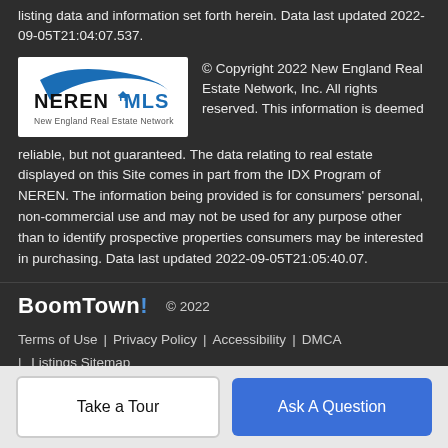listing data and information set forth herein. Data last updated 2022-09-05T21:04:07.537.
[Figure (logo): NEREN MLS - New England Real Estate Network logo, white background with blue swoosh and text]
© Copyright 2022 New England Real Estate Network, Inc. All rights reserved. This information is deemed reliable, but not guaranteed. The data relating to real estate displayed on this Site comes in part from the IDX Program of NEREN. The information being provided is for consumers' personal, non-commercial use and may not be used for any purpose other than to identify prospective properties consumers may be interested in purchasing. Data last updated 2022-09-05T21:05:40.07.
BoomTown! © 2022
Terms of Use | Privacy Policy | Accessibility | DMCA | Listings Sitemap